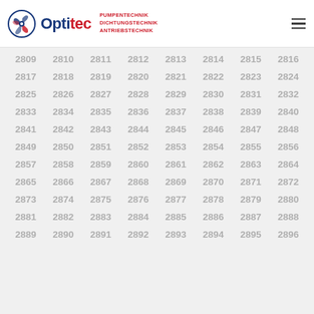[Figure (logo): Optitec logo with gear/fan icon, bold blue 'Opti' and red 'tec' text, red tagline: PUMPENTECHNIK DICHTUNGSTECHNIK ANTRIEBSTECHNIK]
2809 2810 2811 2812 2813 2814 2815 2816
2817 2818 2819 2820 2821 2822 2823 2824
2825 2826 2827 2828 2829 2830 2831 2832
2833 2834 2835 2836 2837 2838 2839 2840
2841 2842 2843 2844 2845 2846 2847 2848
2849 2850 2851 2852 2853 2854 2855 2856
2857 2858 2859 2860 2861 2862 2863 2864
2865 2866 2867 2868 2869 2870 2871 2872
2873 2874 2875 2876 2877 2878 2879 2880
2881 2882 2883 2884 2885 2886 2887 2888
2889 2890 2891 2892 2893 2894 2895 2896